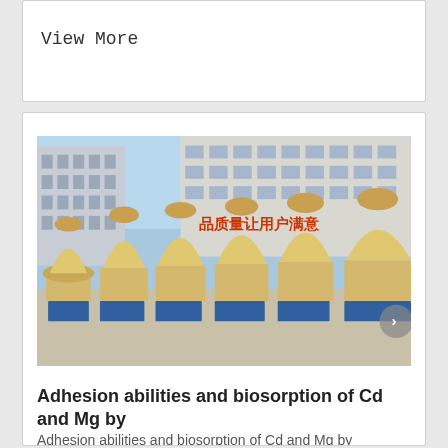View More
[Figure (photo): Outdoor industrial scene showing a row of large yellow conical grinding mill machines mounted on blue steel frames, lined up in a factory yard. In the background is a large industrial building with Chinese characters reading 品质量让用户满意 on the facade. The sky is blue and clear.]
Adhesion abilities and biosorption of Cd and Mg by
Adhesion abilities and biosorption of Cd and Mg by